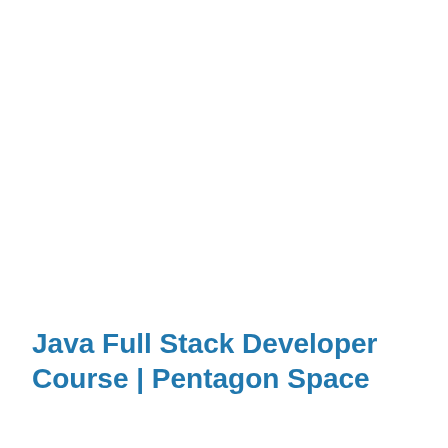Java Full Stack Developer Course | Pentagon Space